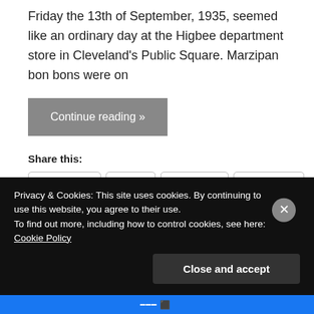Friday the 13th of September, 1935, seemed like an ordinary day at the Higbee department store in Cleveland's Public Square. Marzipan bon bons were on
Continue reading »
Share this:
WhatsApp
Print
Telegram
Facebook
Pinterest
Reddit
Tumblr
Twitter
LinkedIn
More
Privacy & Cookies: This site uses cookies. By continuing to use this website, you agree to their use.
To find out more, including how to control cookies, see here: Cookie Policy
Close and accept